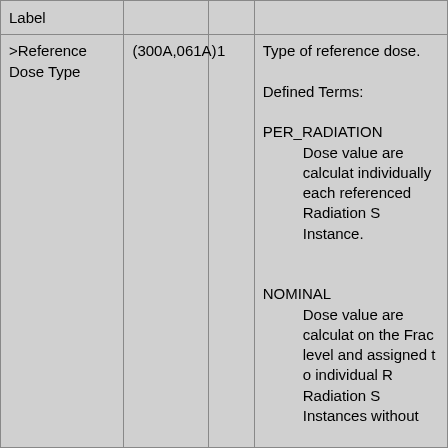| Label |  |  |  |
| --- | --- | --- | --- |
| >Reference Dose Type | (300A,061A) | 1 | Type of reference dose.

Defined Terms:

PER_RADIATION
  Dose values are calculated individually for each referenced Radiation S Instance.

NOMINAL
  Dose values are calculated on the Fraction level and assigned to individual R Radiation S Instances without |